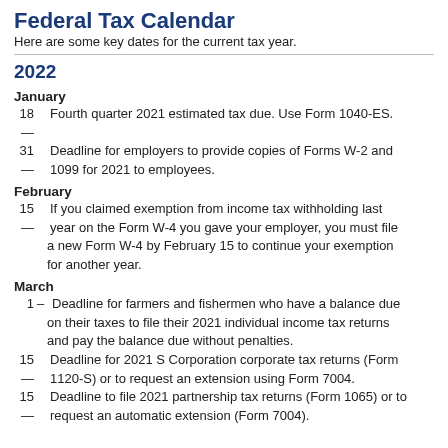Federal Tax Calendar
Here are some key dates for the current tax year.
2022
January
18  Fourth quarter 2021 estimated tax due. Use Form 1040-ES.
31  Deadline for employers to provide copies of Forms W-2 and 1099 for 2021 to employees.
February
15  If you claimed exemption from income tax withholding last year on the Form W-4 you gave your employer, you must file a new Form W-4 by February 15 to continue your exemption for another year.
March
1  Deadline for farmers and fishermen who have a balance due on their taxes to file their 2021 individual income tax returns and pay the balance due without penalties.
15  Deadline for 2021 S Corporation corporate tax returns (Form 1120-S) or to request an extension using Form 7004.
15  Deadline to file 2021 partnership tax returns (Form 1065) or to request an automatic extension (Form 7004).